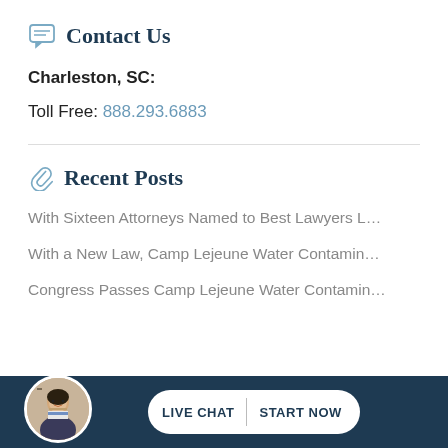Contact Us
Charleston, SC:
Toll Free: 888.293.6883
Recent Posts
With Sixteen Attorneys Named to Best Lawyers L…
With a New Law, Camp Lejeune Water Contamin…
Congress Passes Camp Lejeune Water Contamin…
[Figure (other): Live chat footer bar with attorney avatar photo and 'LIVE CHAT | START NOW' button]